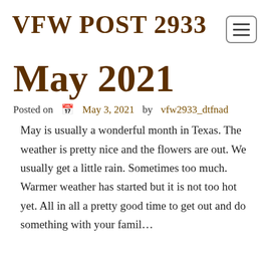VFW POST 2933
May 2021
Posted on  May 3, 2021 by  vfw2933_dtfnad
May is usually a wonderful month in Texas. The weather is pretty nice and the flowers are out. We usually get a little rain. Sometimes too much. Warmer weather has started but it is not too hot yet. All in all a pretty good time to get out and do something with your famil…